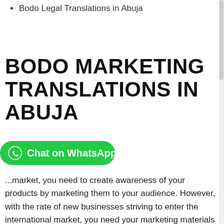Bodo Legal Translations in Abuja
BODO MARKETING TRANSLATIONS IN ABUJA
[Figure (other): Green WhatsApp Chat button with WhatsApp icon and text 'Chat on WhatsApp']
...market, you need to create awareness of your products by marketing them to your audience. However, with the rate of new businesses striving to enter the international market, you need your marketing materials to be localised into the language of your local audience.
We're tested and trusted by top brands for their Bodo marketing translations. Our network of Bodo translators in Abuja have the required creative skills to